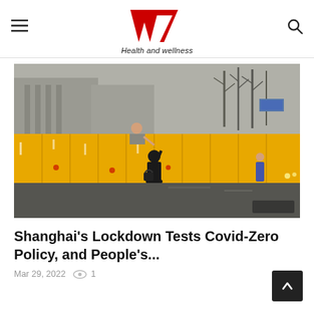W7 Health and wellness
[Figure (photo): Person in black clothing reaching up over a tall yellow barrier/barricade on a wet street to receive something from a person on the other side. Urban setting with buildings and bare trees in background.]
Shanghai's Lockdown Tests Covid-Zero Policy, and People's...
Mar 29, 2022  1